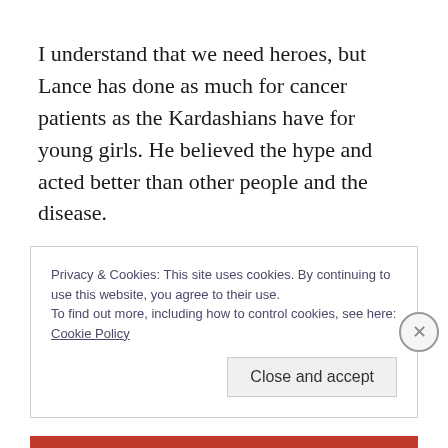I understand that we need heroes, but Lance has done as much for cancer patients as the Kardashians have for young girls. He believed the hype and acted better than other people and the disease.
Lance didn't defy odds, he got lucky. By allowing the world to believe he conquered cancer like he did the Tour de France, he reinforced a dangerous message. Millions die
Privacy & Cookies: This site uses cookies. By continuing to use this website, you agree to their use.
To find out more, including how to control cookies, see here: Cookie Policy
Close and accept